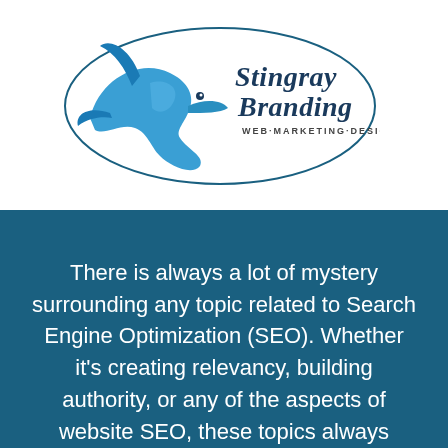[Figure (logo): Stingray Branding logo — a blue stingray/shark graphic on the left with script text 'Stingray Branding' and small text 'WEB · MARKETING · DESIGN' on the right, inside an oval outline]
There is always a lot of mystery surrounding any topic related to Search Engine Optimization (SEO). Whether it's creating relevancy, building authority, or any of the aspects of website SEO, these topics always